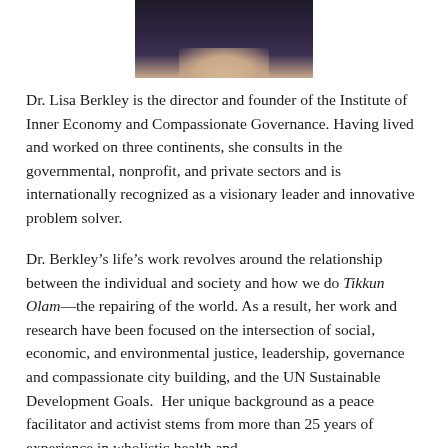[Figure (photo): Partial photo of Dr. Lisa Berkley, showing upper body, dark background, cropped at top of page]
Dr. Lisa Berkley is the director and founder of the Institute of Inner Economy and Compassionate Governance. Having lived and worked on three continents, she consults in the governmental, nonprofit, and private sectors and is internationally recognized as a visionary leader and innovative problem solver.
Dr. Berkley’s life’s work revolves around the relationship between the individual and society and how we do Tikkun Olam—the repairing of the world. As a result, her work and research have been focused on the intersection of social, economic, and environmental justice, leadership, governance and compassionate city building, and the UN Sustainable Development Goals. Her unique background as a peace facilitator and activist stems from more than 25 years of experience in wholistic health and